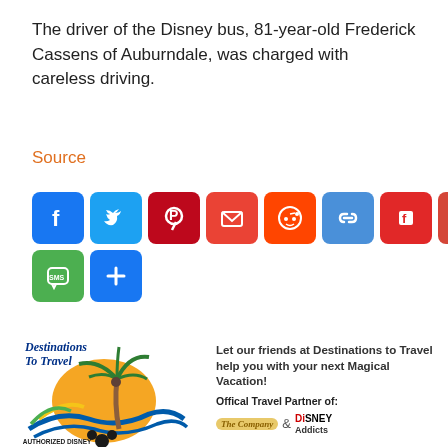The driver of the Disney bus, 81-year-old Frederick Cassens of Auburndale, was charged with careless driving.
Source
[Figure (infographic): Row of social media sharing buttons: Facebook, Twitter, Pinterest, Email, Reddit, Link, Flipboard, Gmail, Messenger, Print, SMS, More]
[Figure (infographic): Destinations To Travel advertisement with palm tree logo, text 'Let our friends at Destinations to Travel help you with your next Magical Vacation! Offical Travel Partner of: [The Company logo] & [Disney Addicts logo]']